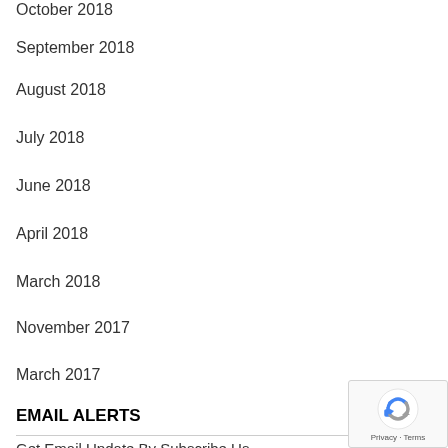October 2018
September 2018
August 2018
July 2018
June 2018
April 2018
March 2018
November 2017
March 2017
EMAIL ALERTS
Get Email Update By Subscribe Us